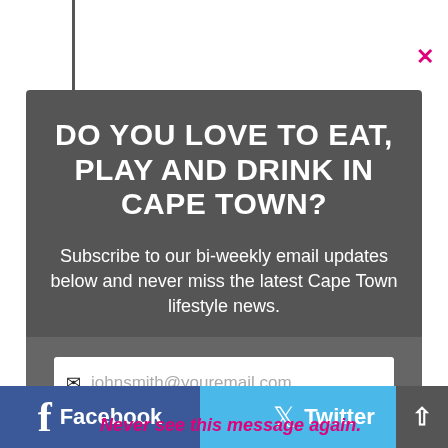DO YOU LOVE TO EAT, PLAY AND DRINK IN CAPE TOWN?
Subscribe to our bi-weekly email updates below and never miss the latest Cape Town lifestyle news.
[Figure (screenshot): Email subscription form with placeholder 'johnsmith@youremail.com', a pink SUBSCRIBE button, and a reCAPTCHA notice. A pink close button (×) appears top right. Bottom bar shows Facebook and Twitter links with a 'Never see this message again.' note in pink.]